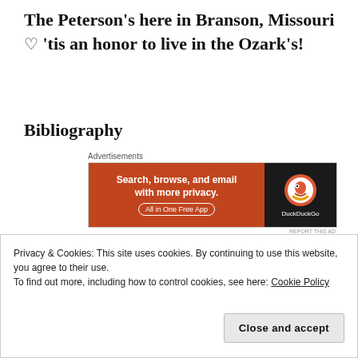The Peterson's here in Branson, Missouri 🤍 'tis an honor to live in the Ozark's!
Bibliography
[Figure (other): DuckDuckGo advertisement banner: 'Search, browse, and email with more privacy. All in One Free App' with DuckDuckGo logo on dark background.]
(2021.). Retrieved from
https://www.womenhistoryblog.com/2012/04/sarah-josepha-hale.html
resources/biographies/sarah-hale
Privacy & Cookies: This site uses cookies. By continuing to use this website, you agree to their use.
To find out more, including how to control cookies, see here: Cookie Policy